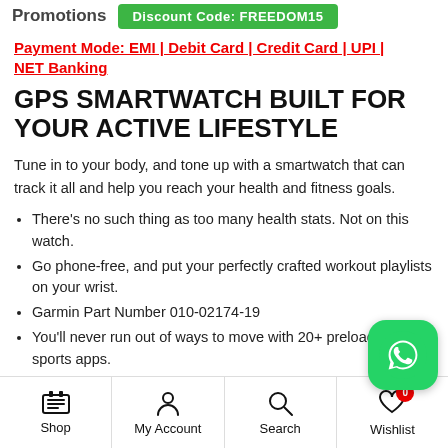Promotions   Discount Code: FREEDOM15
Payment Mode: EMI | Debit Card | Credit Card | UPI | NET Banking
GPS SMARTWATCH BUILT FOR YOUR ACTIVE LIFESTYLE
Tune in to your body, and tone up with a smartwatch that can track it all and help you reach your health and fitness goals.
There's no such thing as too many health stats. Not on this watch.
Go phone-free, and put your perfectly crafted workout playlists on your wrist.
Garmin Part Number 010-02174-19
You'll never run out of ways to move with 20+ preloaded sports apps.
[Figure (logo): WhatsApp floating button icon]
Shop   My Account   Search   Wishlist